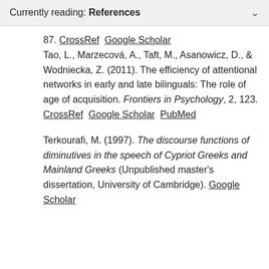Currently reading: References
87. CrossRef  Google Scholar
Tao, L., Marzecová, A., Taft, M., Asanowicz, D., & Wodniecka, Z. (2011). The efficiency of attentional networks in early and late bilinguals: The role of age of acquisition. Frontiers in Psychology, 2, 123. CrossRef  Google Scholar  PubMed
Terkourafi, M. (1997). The discourse functions of diminutives in the speech of Cypriot Greeks and Mainland Greeks (Unpublished master's dissertation, University of Cambridge). Google Scholar